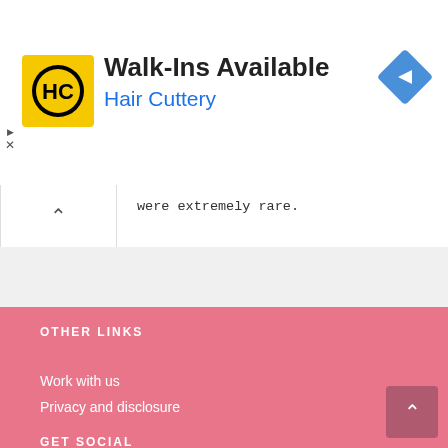[Figure (logo): Hair Cuttery HC logo — yellow square with black HC circle emblem, with ad text 'Walk-Ins Available' and 'Hair Cuttery' in blue, and a blue navigation diamond icon on the right]
were extremely rare.
OTHER LINKS
Work with us
Privacy and disclosure
GET SOCIAL
Instagram